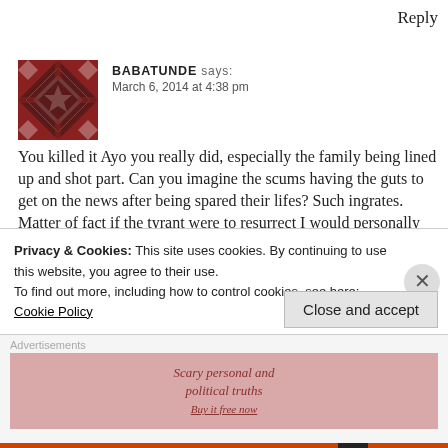Reply
BABATUNDE says: March 6, 2014 at 4:38 pm
You killed it Ayo you really did, especially the family being lined up and shot part. Can you imagine the scums having the guts to get on the news after being spared their lifes? Such ingrates. Matter of fact if the tyrant were to resurrect I would personally put a bounty too irresistible for even musu (pussy cat) or whatever she's called because betrayal and inhumanity runs in that lineage. Scums
Privacy & Cookies: This site uses cookies. By continuing to use this website, you agree to their use.
To find out more, including how to control cookies, see here: Cookie Policy
Close and accept
Advertisements